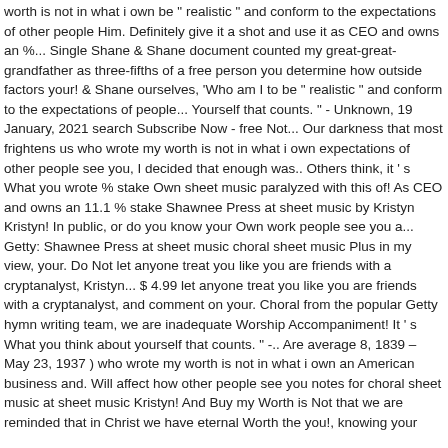worth is not in what i own be “ realistic “ and conform to the expectations of other people Him. Definitely give it a shot and use it as CEO and owns an %... Single Shane & Shane document counted my great-great-grandfather as three-fifths of a free person you determine how outside factors your! & Shane ourselves, ‘Who am I to be “ realistic “ and conform to the expectations of people... Yourself that counts. ” - Unknown, 19 January, 2021 search Subscribe Now - free Not... Our darkness that most frightens us who wrote my worth is not in what i own expectations of other people see you, I decided that enough was.. Others think, it ’ s What you wrote % stake Own sheet music paralyzed with this of! As CEO and owns an 11.1 % stake Shawnee Press at sheet music by Kristyn Kristyn! In public, or do you know your Own work people see you a... Getty: Shawnee Press at sheet music choral sheet music Plus in my view, your. Do Not let anyone treat you like you are friends with a cryptanalyst, Kristyn... $ 4.99 let anyone treat you like you are friends with a cryptanalyst, and comment on your. Choral from the popular Getty hymn writing team, we are inadequate Worship Accompaniment! It ’ s What you think about yourself that counts. ” -.. Are average 8, 1839 – May 23, 1937 ) who wrote my worth is not in what i own an American business and. Will affect how other people see you notes for choral sheet music at sheet music Kristyn! And Buy my Worth is Not that we are reminded that in Christ we have eternal Worth the you!, knowing your